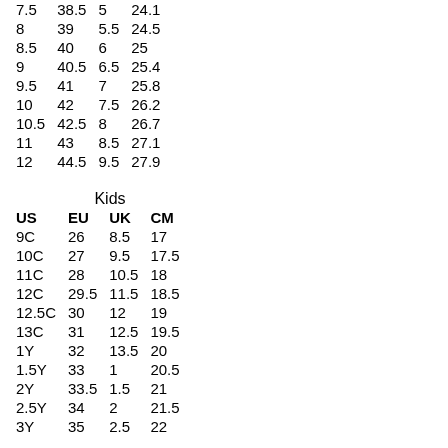| US | EU | UK | CM |
| --- | --- | --- | --- |
| 7.5 | 38.5 | 5 | 24.1 |
| 8 | 39 | 5.5 | 24.5 |
| 8.5 | 40 | 6 | 25 |
| 9 | 40.5 | 6.5 | 25.4 |
| 9.5 | 41 | 7 | 25.8 |
| 10 | 42 | 7.5 | 26.2 |
| 10.5 | 42.5 | 8 | 26.7 |
| 11 | 43 | 8.5 | 27.1 |
| 12 | 44.5 | 9.5 | 27.9 |
Kids
| US | EU | UK | CM |
| --- | --- | --- | --- |
| 9C | 26 | 8.5 | 17 |
| 10C | 27 | 9.5 | 17.5 |
| 11C | 28 | 10.5 | 18 |
| 12C | 29.5 | 11.5 | 18.5 |
| 12.5C | 30 | 12 | 19 |
| 13C | 31 | 12.5 | 19.5 |
| 1Y | 32 | 13.5 | 20 |
| 1.5Y | 33 | 1 | 20.5 |
| 2Y | 33.5 | 1.5 | 21 |
| 2.5Y | 34 | 2 | 21.5 |
| 3Y | 35 | 2.5 | 22 |